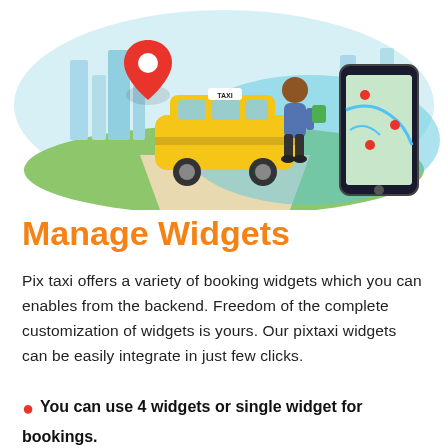[Figure (illustration): Illustration of a yellow taxi cab with a driver standing beside it, a red map pin, a city skyline in the background, and a smartphone showing a map — representing a taxi booking app.]
Manage Widgets
Pix taxi offers a variety of booking widgets which you can enables from the backend. Freedom of the complete customization of widgets is yours. Our pixtaxi widgets can be easily integrate in just few clicks.
You can use 4 widgets or single widget for bookings.